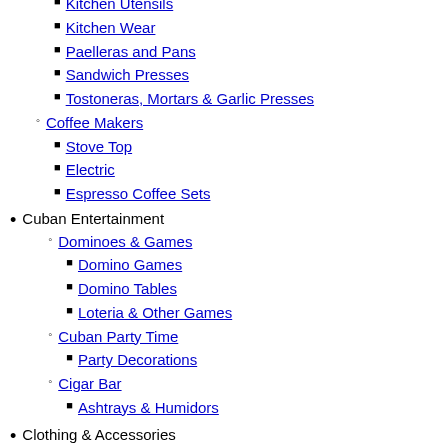Kitchen Utensils
Kitchen Wear
Paelleras and Pans
Sandwich Presses
Tostoneras, Mortars & Garlic Presses
Coffee Makers
Stove Top
Electric
Espresso Coffee Sets
Cuban Entertainment
Dominoes & Games
Domino Games
Domino Tables
Loteria & Other Games
Cuban Party Time
Party Decorations
Cigar Bar
Ashtrays & Humidors
Clothing & Accessories
Accessories
Guayaberas
Guayaberas for Kids
Guayaberas for Ladies
Guayaberas for Men
Hats